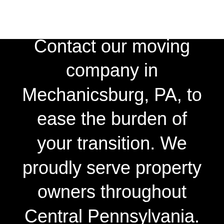Contact our moving company in Mechanicsburg, PA, to ease the burden of your transition. We proudly serve property owners throughout Central Pennsylvania.